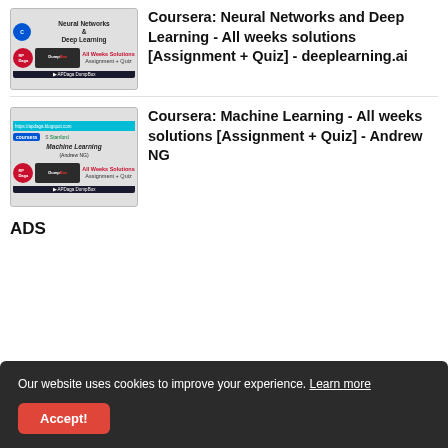[Figure (screenshot): Thumbnail for Coursera Neural Networks and Deep Learning All Weeks Solutions Assignment + Quiz deeplearning.ai]
Coursera: Neural Networks and Deep Learning - All weeks solutions [Assignment + Quiz] - deeplearning.ai
[Figure (screenshot): Thumbnail for Coursera Machine Learning All Weeks Solutions Assignment + Quiz Andrew NG]
Coursera: Machine Learning - All weeks solutions [Assignment + Quiz] - Andrew NG
ADS
Our website uses cookies to improve your experience. Learn more
Accept!